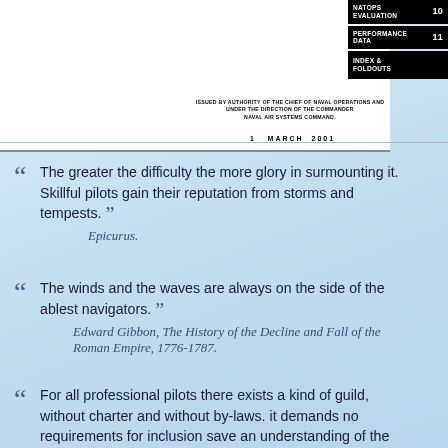[Figure (other): NATOPS manual cover page top portion showing sidebar tabs with NATOPS EVALUATION (10), PERFORMANCE DATA (11), INDEX & FOLDOUTS, issued by authority text, and date 1 MARCH 2001]
The greater the difficulty the more glory in surmounting it. Skillful pilots gain their reputation from storms and tempests.
Epicurus.
The winds and the waves are always on the side of the ablest navigators.
Edward Gibbon, The History of the Decline and Fall of the Roman Empire, 1776-1787.
For all professional pilots there exists a kind of guild, without charter and without by-laws. it demands no requirements for inclusion save an understanding of the